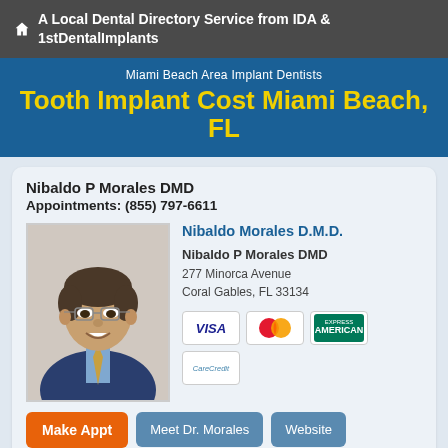A Local Dental Directory Service from IDA & 1stDentalImplants
Tooth Implant Cost Miami Beach, FL
Miami Beach Area Implant Dentists
Nibaldo P Morales DMD
Appointments: (855) 797-6611
[Figure (photo): Professional headshot of Nibaldo Morales DMD, male dentist in suit and tie with glasses]
Nibaldo Morales D.M.D.
Nibaldo P Morales DMD
277 Minorca Avenue
Coral Gables, FL 33134
[Figure (other): Payment method icons: VISA, MasterCard, American Express, CareCredit]
Make Appt   Meet Dr. Morales   Website
more info ...